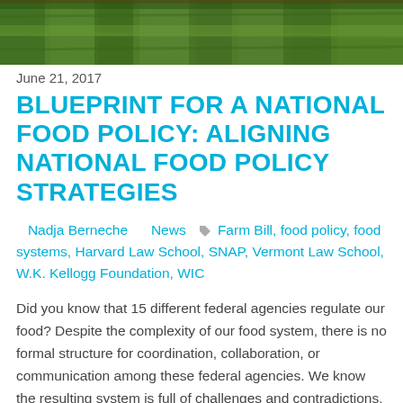[Figure (photo): Aerial or close-up view of a green grass or crop field, shown as a banner image at the top of the page]
June 21, 2017
BLUEPRINT FOR A NATIONAL FOOD POLICY: ALIGNING NATIONAL FOOD POLICY STRATEGIES
Nadja Berneche   News  🏷 Farm Bill, food policy, food systems, Harvard Law School, SNAP, Vermont Law School, W.K. Kellogg Foundation, WIC
Did you know that 15 different federal agencies regulate our food? Despite the complexity of our food system, there is no formal structure for coordination, collaboration, or communication among these federal agencies. We know the resulting system is full of challenges and contradictions, without clear alignment to tackle the